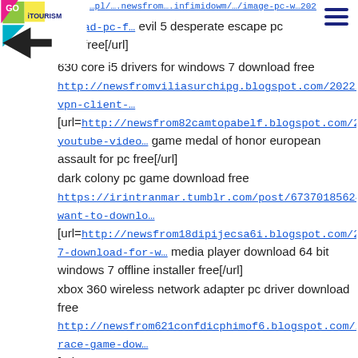GO iTOURISM logo | navigation URL | hamburger menu
wnload-pc-f... evil 5 desperate escape pc load free[/url]
630 core i5 drivers for windows 7 download free
http://newsfromviliasurchipg.blogspot.com/2022/01/barrac vpn-client-...
[url=http://newsfrom82camtopabelf.blogspot.com/2022/01 youtube-video... game medal of honor european assault for pc free[/url]
dark colony pc game download free
https://irintranmar.tumblr.com/post/673701856249249792 want-to-downlo...
[url=http://newsfrom18dipijecsa6i.blogspot.com/2022/01/ne 7-download-for-w... media player download 64 bit windows 7 offline installer free[/url]
xbox 360 wireless network adapter pc driver download free
http://newsfrom621confdicphimof6.blogspot.com/2022/01/ race-game-dow...
[url=http://newsfromspecimiskom g.blogspot.com/2022/01/